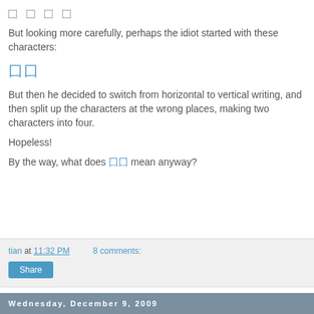□ □ □ □
But looking more carefully, perhaps the idiot started with these characters:
囗囗
But then he decided to switch from horizontal to vertical writing, and then split up the characters at the wrong places, making two characters into four.
Hopeless!
By the way, what does 囗囗 mean anyway?
tian at 11:32 PM    8 comments:
Share
Wednesday, December 9, 2009